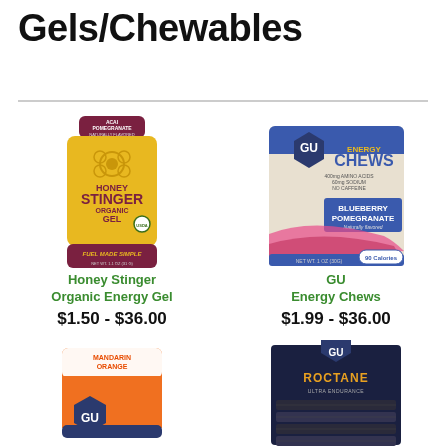Gels/Chewables
[Figure (photo): Honey Stinger Organic Energy Gel packet in gold/maroon with acai pomegranate flavor]
Honey Stinger
Organic Energy Gel
$1.50 - $36.00
[Figure (photo): GU Energy Chews bag in beige/blue with blueberry pomegranate flavor]
GU
Energy Chews
$1.99 - $36.00
[Figure (photo): GU Energy Gel packet in orange with mandarin orange flavor]
[Figure (photo): GU Roctane Ultra Endurance Energy box with multiple packets]